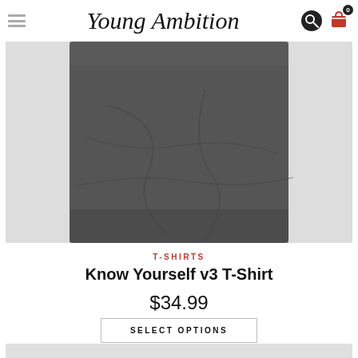Young Ambition
[Figure (photo): Dark gray folded t-shirt on a light gray background]
T-SHIRTS
Know Yourself v3 T-Shirt
$34.99
SELECT OPTIONS